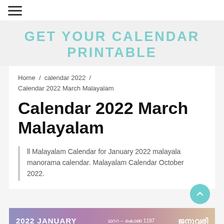☰ (hamburger menu icon)
GET YOUR CALENDAR PRINTABLE
Home / calendar 2022 / Calendar 2022 March Malayalam
Calendar 2022 March Malayalam
ll Malayalam Calendar for January 2022 malayala manorama calendar. Malayalam Calendar October 2022.
[Figure (other): Partial view of a 2022 January Malayalam calendar with gradient purple/pink background showing Malayalam text]